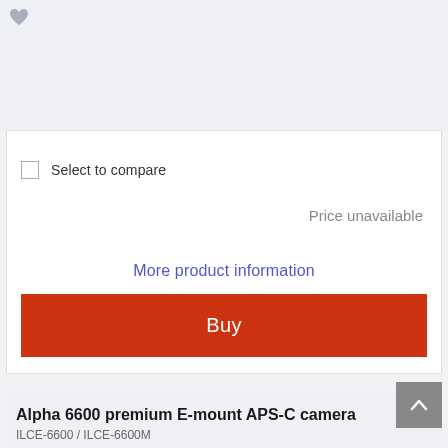[Figure (other): Heart/favorite icon in top-left of gray section]
Select to compare
Price unavailable
More product information
Buy
Alpha 6600 premium E-mount APS-C camera
ILCE-6600 / ILCE-6600M